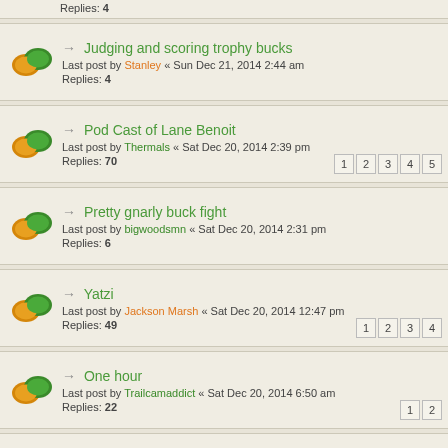Replies: 4 — Judging and scoring trophy bucks — Last post by Stanley « Sun Dec 21, 2014 2:44 am
Replies: 70 — Pod Cast of Lane Benoit — Last post by Thermals « Sat Dec 20, 2014 2:39 pm — pages 1 2 3 4 5
Replies: 6 — Pretty gnarly buck fight — Last post by bigwoodsmn « Sat Dec 20, 2014 2:31 pm
Replies: 49 — Yatzi — Last post by Jackson Marsh « Sat Dec 20, 2014 12:47 pm — pages 1 2 3 4
Replies: 22 — One hour — Last post by Trailcamaddict « Sat Dec 20, 2014 6:50 am — pages 1 2
Replies: 1 — Thermal tunnel questions — Last post by dan « Fri Dec 19, 2014 10:07 pm
2014 PIC HEAVY — Last post by Beauford « Fri Dec 19, 2014 10:07 pm